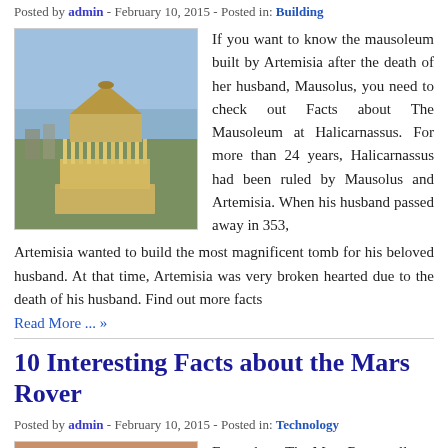Posted by admin - February 10, 2015 - Posted in: Building
[Figure (photo): Illustration of the Mausoleum at Halicarnassus, a tall columned tower structure with a city in the background]
If you want to know the mausoleum built by Artemisia after the death of her husband, Mausolus, you need to check out Facts about The Mausoleum at Halicarnassus. For more than 24 years, Halicarnassus had been ruled by Mausolus and Artemisia. When his husband passed away in 353, Artemisia wanted to build the most magnificent tomb for his beloved husband. At that time, Artemisia was very broken hearted due to the death of his husband. Find out more facts
Read More ... »
10 Interesting Facts about the Mars Rover
Posted by admin - February 10, 2015 - Posted in: Technology
[Figure (photo): Photo of Mars surface with a Mars Rover silhouette]
Facts about The Mars Rover tell you about the technology used by the